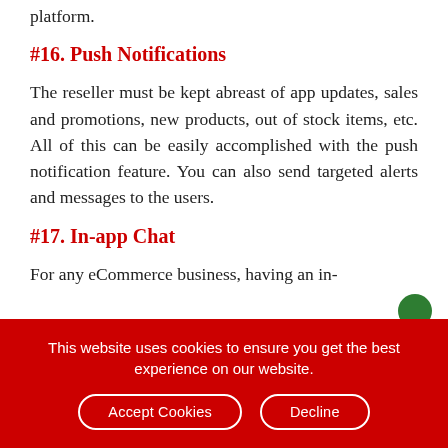platform.
#16. Push Notifications
The reseller must be kept abreast of app updates, sales and promotions, new products, out of stock items, etc. All of this can be easily accomplished with the push notification feature. You can also send targeted alerts and messages to the users.
#17. In-app Chat
For any eCommerce business, having an in-
This website uses cookies to ensure you get the best experience on our website.